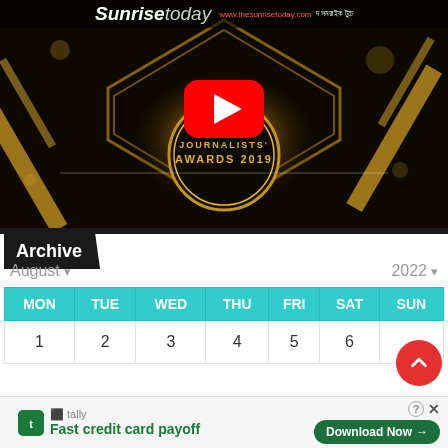[Figure (screenshot): Video thumbnail showing Journalists Awards 2019 with YouTube play button overlay on dark golden background]
Sunrise today | www.thesunrisetoday.com | দ সনরাইক টুচে
Archive
August ▾  2022 ▾
| MON | TUE | WED | THU | FRI | SAT | SUN |
| --- | --- | --- | --- | --- | --- | --- |
| 1 | 2 | 3 | 4 | 5 | 6 |  |
[Figure (other): Tally advertisement banner: Fast credit card payoff, Download Now button]